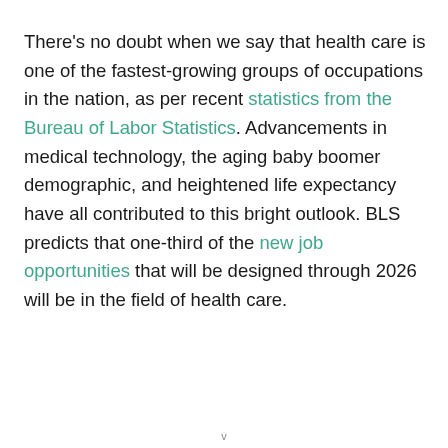There's no doubt when we say that health care is one of the fastest-growing groups of occupations in the nation, as per recent statistics from the Bureau of Labor Statistics. Advancements in medical technology, the aging baby boomer demographic, and heightened life expectancy have all contributed to this bright outlook. BLS predicts that one-third of the new job opportunities that will be designed through 2026 will be in the field of health care.
v